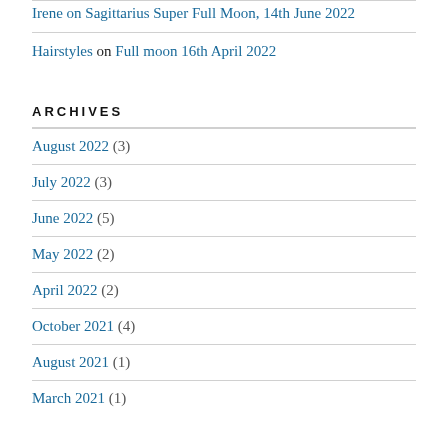Irene on Sagittarius Super Full Moon, 14th June 2022
Hairstyles on Full moon 16th April 2022
ARCHIVES
August 2022 (3)
July 2022 (3)
June 2022 (5)
May 2022 (2)
April 2022 (2)
October 2021 (4)
August 2021 (1)
March 2021 (1)